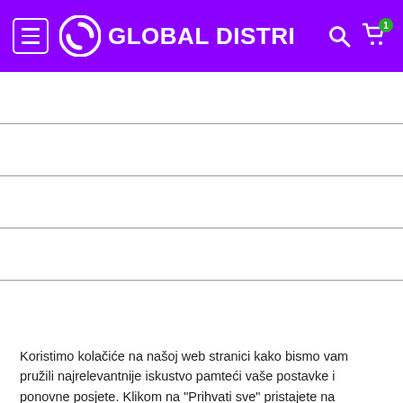GLOBAL DISTRI
Dostava i preuzimanje
Uvjeti poslovanja
Zaštita privatnosti
Povrat robe i reklamacije
Online rješavanje sporova
Koristimo kolačiće na našoj web stranici kako bismo vam pružili najrelevantnije iskustvo pamteći vaše postavke i ponovne posjete. Klikom na "Prihvati sve" pristajete na korištenje SVIH kolačića. Međutim, možete posjetiti "Postavke kolačića" kako biste dali kontrolirani pristanak.
Postavke kolačića | Prihvati sve